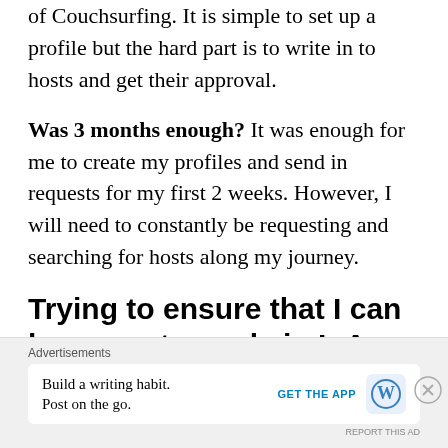of Couchsurfing. It is simple to set up a profile but the hard part is to write in to hosts and get their approval.
Was 3 months enough? It was enough for me to create my profiles and send in requests for my first 2 weeks. However, I will need to constantly be requesting and searching for hosts along my journey.
Trying to ensure that I can buy a motorcycle in L.A
Advertisements
Build a writing habit. Post on the go.